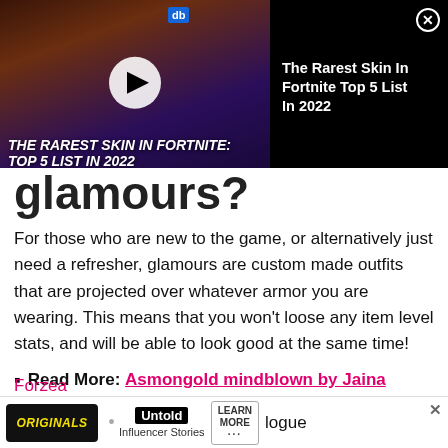[Figure (screenshot): Video player overlay showing Fortnite skin thumbnail with play button and title 'THE RAREST SKIN IN FORTNITE: TOP 5 LIST IN 2022'. Sidebar shows title text 'The Rarest Skin In Fortnite Top 5 List In 2022' on black background with close X button.]
glamours?
For those who are new to the game, or alternatively just need a refresher, glamours are custom made outfits that are projected over whatever armor you are wearing. This means that you won't loose any item level stats, and will be able to look good at the same time!
Read More: Asmongold mindblown by Jaina Proudmoore FFXIV glamour
A who…a the Forzea…logue
[Figure (screenshot): Advertisement banner: Originals logo, Untold Influencer Stories, Learn More button]